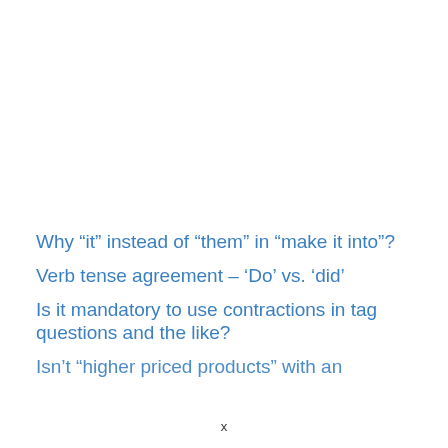Why “it” instead of “them” in “make it into”?
Verb tense agreement – ‘Do’ vs. ‘did’
Is it mandatory to use contractions in tag questions and the like?
Isn’t “higher priced products” with an
x